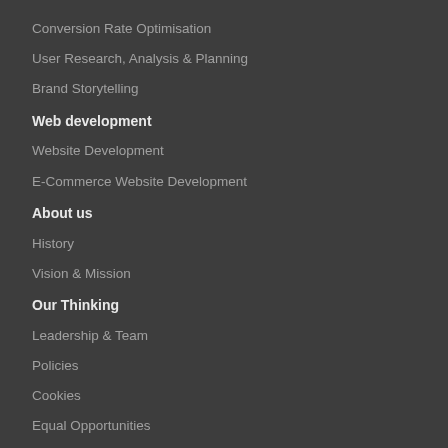Conversion Rate Optimisation
User Research, Analysis & Planning
Brand Storytelling
Web development
Website Development
E-Commerce Website Development
About us
History
Vision & Mission
Our Thinking
Leadership & Team
Policies
Cookies
Equal Opportunities
Our Locations
Our work
Events
Careers at Door4
Scrapbook